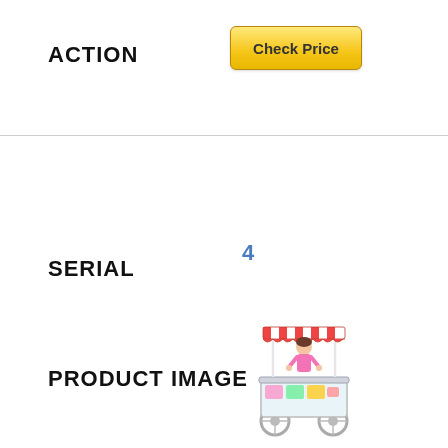ACTION
[Figure (other): Check Price button - yellow/gold rounded rectangle button with text 'Check Price']
SERIAL
4
PRODUCT IMAGE
[Figure (photo): Toy candy/food cart with red and white striped awning, a doll figure (girl in pink) standing behind it, and wheels, resembling a vendor stand]